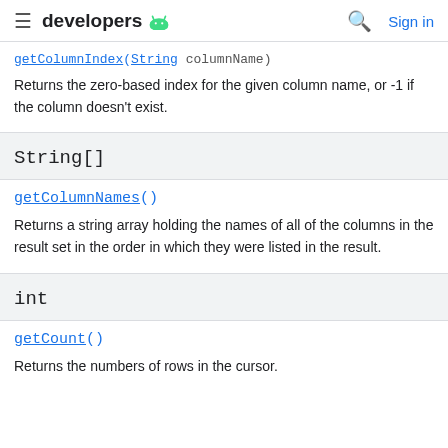developers
getColumnIndex(String columnName)
Returns the zero-based index for the given column name, or -1 if the column doesn't exist.
String[]
getColumnNames()
Returns a string array holding the names of all of the columns in the result set in the order in which they were listed in the result.
int
getCount()
Returns the numbers of rows in the cursor.